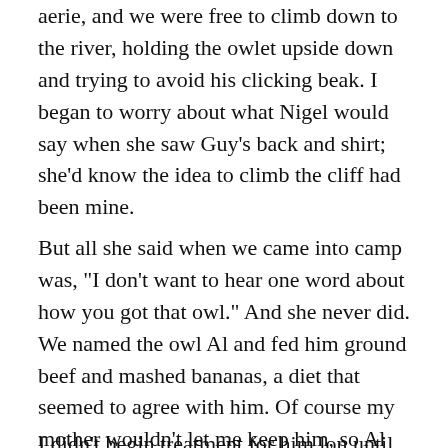aerie, and we were free to climb down to the river, holding the owlet upside down and trying to avoid his clicking beak. I began to worry about what Nigel would say when she saw Guy’s back and shirt; she’d know the idea to climb the cliff had been mine.
But all she said when we came into camp was, “I don’t want to hear one word about how you got that owl.” And she never did. We named the owl Al and fed him ground beef and mashed bananas, a diet that seemed to agree with him. Of course my mother wouldn’t let me keep him, so Al went back to Nigel’s ranch when they left near the end of summer. He never became fully wild. Guy told me, in one of his rare letters, that every night Al flew to Guy’s bedroom window and sat on the sill, clicking his beak.
I didn’t begin treatment for him lon until the age of